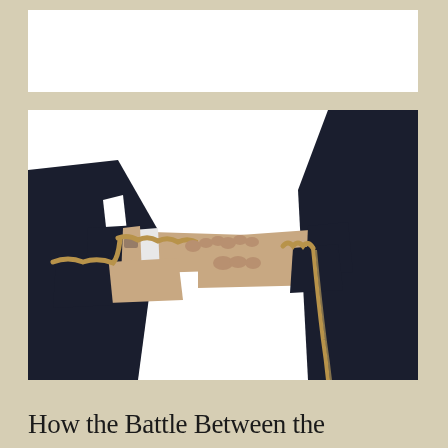[Figure (photo): Two businessmen in dark suits pulling on opposite ends of a rope in a tug-of-war, symbolizing conflict or competition]
How the Battle Between the